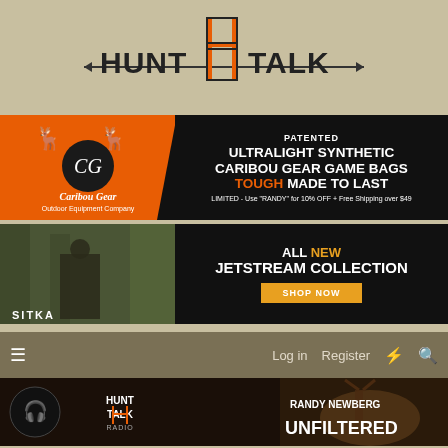[Figure (logo): Hunt Talk logo with orange H crosshair icon and arrow, text HUNT TALK]
[Figure (infographic): Caribou Gear advertisement: orange left panel with logo, black right panel reading PATENTED ULTRALIGHT SYNTHETIC CARIBOU GEAR GAME BAGS TOUGH MADE TO LAST. LIMITED - Use RANDY for 10% OFF + Free Shipping over $49]
[Figure (infographic): Sitka advertisement: hunter photo on left, black right panel reading ALL NEW JETSTREAM COLLECTION with SHOP NOW orange button]
[Figure (screenshot): Navigation bar with hamburger menu, Log in, Register, lightning bolt, and search icons on dark olive/tan background]
[Figure (infographic): Hunt Talk Radio banner: headphones, Hunt Talk Radio logo, elk photo, text RANDY NEWBERG UNFILTERED]